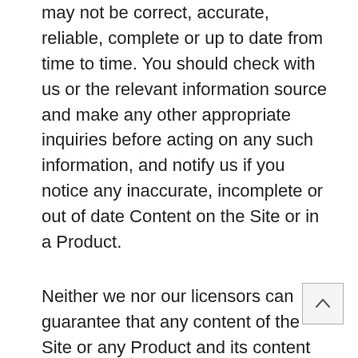may not be correct, accurate, reliable, complete or up to date from time to time. You should check with us or the relevant information source and make any other appropriate inquiries before acting on any such information, and notify us if you notice any inaccurate, incomplete or out of date Content on the Site or in a Product.
Neither we nor our licensors can guarantee that any content of the Site or any Product and its content will be free from viruses or other code that may have contaminating or destructive